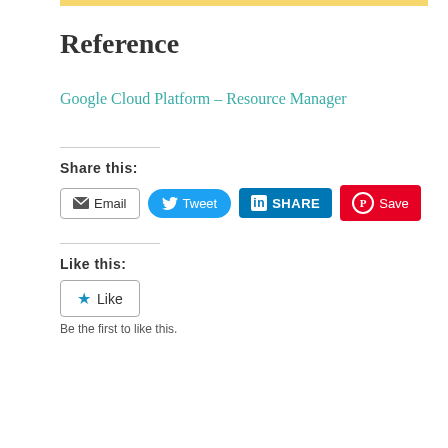Reference
Google Cloud Platform – Resource Manager
Share this:
[Figure (infographic): Social share buttons: Email, Tweet, Share (LinkedIn), Save (Pinterest)]
Like this:
[Figure (infographic): Like button with star icon]
Be the first to like this.